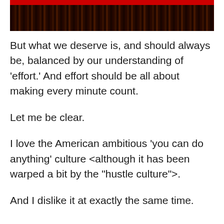[Figure (photo): A photo with a red background showing dark text or objects, partially visible at the top of the page.]
But what we deserve is, and should always be, balanced by our understanding of 'effort.' And effort should be all about making every minute count.
Let me be clear.
I love the American ambitious 'you can do anything' culture <although it has been warped a bit by the "hustle culture">.
And I dislike it at exactly the same time.